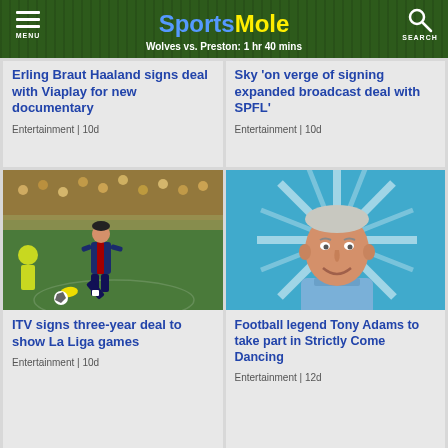SportsMole — Wolves vs. Preston: 1 hr 40 mins
Erling Braut Haaland signs deal with Viaplay for new documentary
Entertainment | 10d
Sky 'on verge of signing expanded broadcast deal with SPFL'
Entertainment | 10d
[Figure (photo): Soccer player kicking ball during La Liga match, wearing dark blue and red striped kit]
ITV signs three-year deal to show La Liga games
Entertainment | 10d
[Figure (photo): Portrait of football legend Tony Adams smiling, blue shirt, colourful starburst background]
Football legend Tony Adams to take part in Strictly Come Dancing
Entertainment | 12d